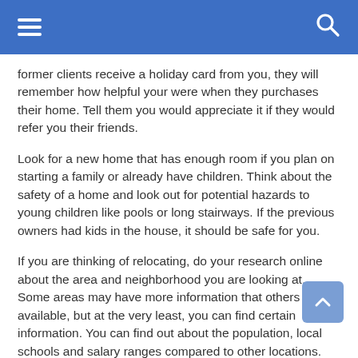former clients receive a holiday card from you, they will remember how helpful your were when they purchases their home. Tell them you would appreciate it if they would refer you their friends.
Look for a new home that has enough room if you plan on starting a family or already have children. Think about the safety of a home and look out for potential hazards to young children like pools or long stairways. If the previous owners had kids in the house, it should be safe for you.
If you are thinking of relocating, do your research online about the area and neighborhood you are looking at. Some areas may have more information that others available, but at the very least, you can find certain information. You can find out about the population, local schools and salary ranges compared to other locations.
Make sure to look towards the future whenever you are in